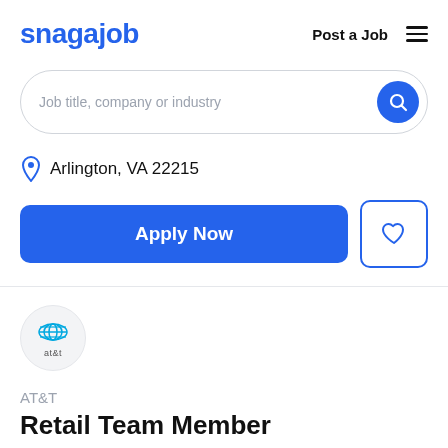snagajob   Post a Job
Job title, company or industry
Arlington, VA 22215
Apply Now
[Figure (logo): AT&T company logo circle with concentric globe stripes in blue, with 'at&t' text below]
AT&T
Retail Team Member